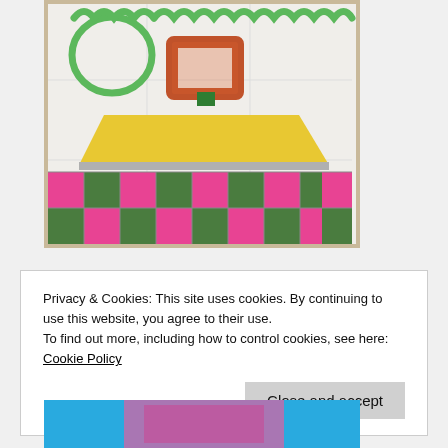[Figure (photo): A fabric quilt or sewing project showing a patchwork iron shape made from yellow and orange/red fabric, with a green beaded or ric-rac trim along the top forming loops, sewn on a white background. The bottom portion has a checkerboard pattern of pink and green/floral fabric squares.]
Privacy & Cookies: This site uses cookies. By continuing to use this website, you agree to their use.
To find out more, including how to control cookies, see here: Cookie Policy
Close and accept
[Figure (photo): Partial view of another image at the bottom, showing bright blue and pink/magenta colors.]